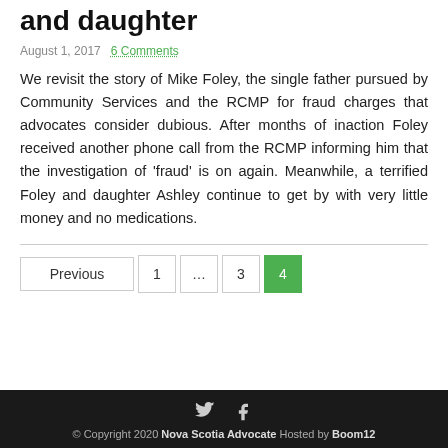and daughter
August 1, 2017
6 Comments
We revisit the story of Mike Foley, the single father pursued by Community Services and the RCMP for fraud charges that advocates consider dubious. After months of inaction Foley received another phone call from the RCMP informing him that the investigation of 'fraud' is on again. Meanwhile, a terrified Foley and daughter Ashley continue to get by with very little money and no medications.
Previous 1 ... 3 4
© Copyright 2020 Nova Scotia Advocate Hosted by Boom12